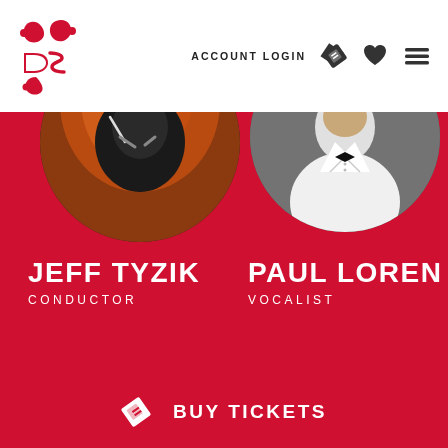[Figure (screenshot): DSO (Detroit Symphony Orchestra) website screenshot showing header with logo, navigation icons, red performer section with Jeff Tyzik (Conductor) and Paul Loren (Vocalist) circular photos, and a Buy Tickets button at bottom]
ACCOUNT LOGIN
JEFF TYZIK
CONDUCTOR
PAUL LOREN
VOCALIST
BUY TICKETS